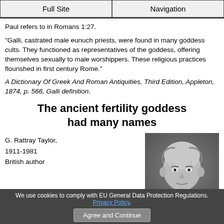Full Site | Navigation
Paul refers to in Romans 1:27.
"Galli, castrated male eunuch priests, were found in many goddess cults. They functioned as representatives of the goddess, offering themselves sexually to male worshippers. These religious practices flourished in first century Rome."
A Dictionary Of Greek And Roman Antiquities, Third Edition, Appleton, 1874, p. 566, Galli definition.
The ancient fertility goddess had many names
G. Rattray Taylor,
1911-1981
British author
[Figure (photo): Black and white portrait photo of G. Rattray Taylor, an older balding man]
We use cookies to comply with EU General Data Protection Regulations. Privacy Policy. Agree and Continue